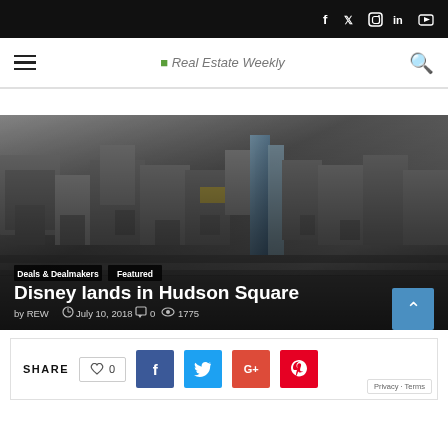Real Estate Weekly — navigation bar with social icons (f, twitter, instagram, in, youtube), hamburger menu, search
[Figure (photo): Aerial black and white photo of Hudson Square / Manhattan cityscape with tall glass skyscraper in background. Overlaid tags: Deals & Dealmakers, Featured. Title: Disney lands in Hudson Square. Meta: by REW, July 10, 2018, 0 comments, 1775 views.]
Disney lands in Hudson Square
by REW  July 10, 2018  0  1775
SHARE  0